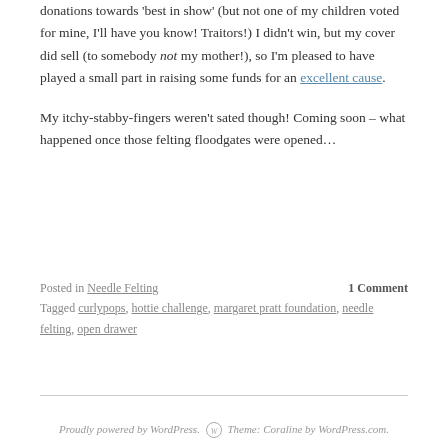donations towards 'best in show' (but not one of my children voted for mine, I'll have you know! Traitors!) I didn't win, but my cover did sell (to somebody not my mother!), so I'm pleased to have played a small part in raising some funds for an excellent cause.
My itchy-stabby-fingers weren't sated though! Coming soon – what happened once those felting floodgates were opened…
Posted in Needle Felting   1 Comment
Tagged curlypops, hottie challenge, margaret pratt foundation, needle felting, open drawer
Proudly powered by WordPress. Theme: Coraline by WordPress.com.